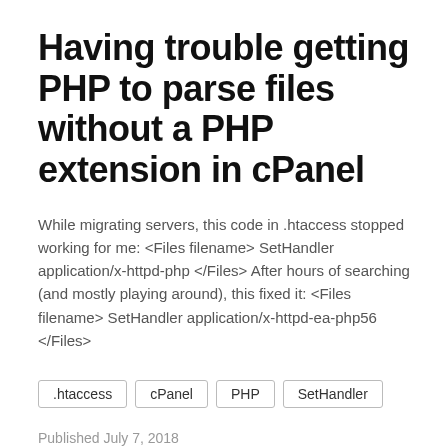Having trouble getting PHP to parse files without a PHP extension in cPanel
While migrating servers, this code in .htaccess stopped working for me: <Files filename> SetHandler application/x-httpd-php </Files> After hours of searching (and mostly playing around), this fixed it: <Files filename> SetHandler application/x-httpd-ea-php56 </Files>
.htaccess
cPanel
PHP
SetHandler
Published July 7, 2018